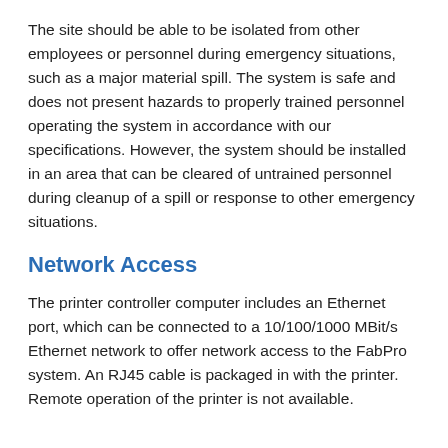The site should be able to be isolated from other employees or personnel during emergency situations, such as a major material spill. The system is safe and does not present hazards to properly trained personnel operating the system in accordance with our specifications. However, the system should be installed in an area that can be cleared of untrained personnel during cleanup of a spill or response to other emergency situations.
Network Access
The printer controller computer includes an Ethernet port, which can be connected to a 10/100/1000 MBit/s Ethernet network to offer network access to the FabPro system. An RJ45 cable is packaged in with the printer. Remote operation of the printer is not available.